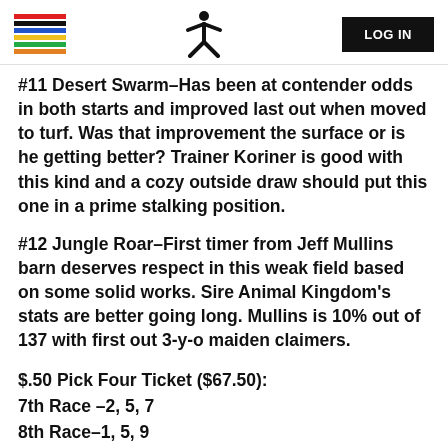LOG IN
#11 Desert Swarm–Has been at contender odds in both starts and improved last out when moved to turf. Was that improvement the surface or is he getting better? Trainer Koriner is good with this kind and a cozy outside draw should put this one in a prime stalking position.
#12 Jungle Roar–First timer from Jeff Mullins barn deserves respect in this weak field based on some solid works. Sire Animal Kingdom's stats are better going long. Mullins is 10% out of 137 with first out 3-y-o maiden claimers.
$.50 Pick Four Ticket ($67.50):
7th Race –2, 5, 7
8th Race–1, 5, 9
9th Race–1, 4, 6
10th Race–1, 2, 5, 11, 12